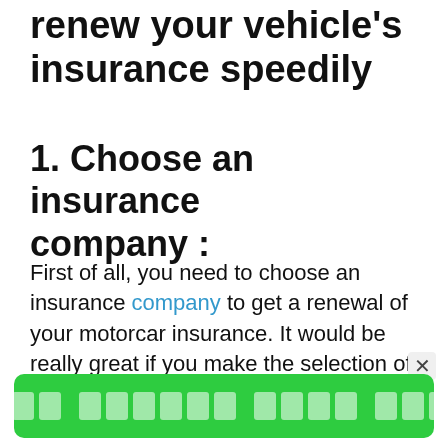renew your vehicle's insurance speedily
1. Choose an insurance company :
First of all, you need to choose an insurance company to get a renewal of your motorcar insurance. It would be really great if you make the selection of the company that generally offers excellent-sale and post-sale services.
×
[Hindi text button]